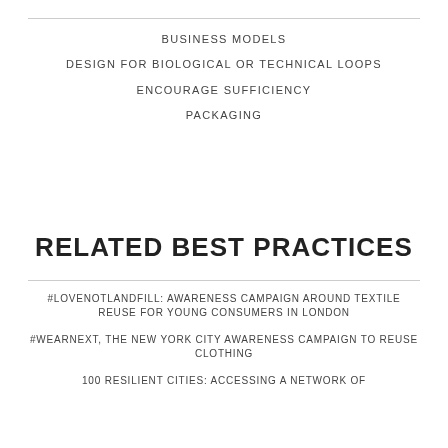BUSINESS MODELS
DESIGN FOR BIOLOGICAL OR TECHNICAL LOOPS
ENCOURAGE SUFFICIENCY
PACKAGING
RELATED BEST PRACTICES
#LOVENOTLANDFILL: AWARENESS CAMPAIGN AROUND TEXTILE REUSE FOR YOUNG CONSUMERS IN LONDON
#WEARNEXT, THE NEW YORK CITY AWARENESS CAMPAIGN TO REUSE CLOTHING
100 RESILIENT CITIES: ACCESSING A NETWORK OF